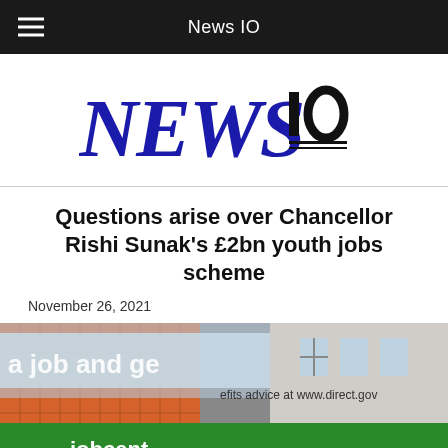News IO
[Figure (logo): News IO logo — large bold 'NEWS' in dark blue serif capitals with 'IO' in black superscript-style on top right, underlined]
Questions arise over Chancellor Rishi Sunak's £2bn youth jobs scheme
November 26, 2021
[Figure (photo): Street-level photo of a Jobcentre sign with colourful building background. Text visible: 'a job and get', 'efits advice at www.direct.gov', 'jobcent']